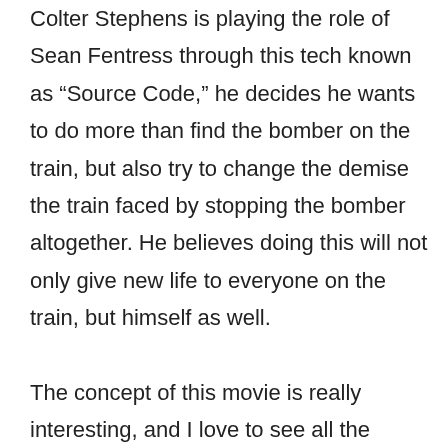Colter Stephens is playing the role of Sean Fentress through this tech known as “Source Code,” he decides he wants to do more than find the bomber on the train, but also try to change the demise the train faced by stopping the bomber altogether. He believes doing this will not only give new life to everyone on the train, but himself as well.

The concept of this movie is really interesting, and I love to see all the different things Colter tries out to get answers. This is the alternate timeline concept done right, in my opinion. I also absolutely love the characters in the movie, Colter and